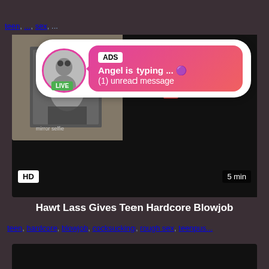teen, ..., sex, ...
[Figure (screenshot): Video thumbnail showing a person taking a selfie in a mirror, with a LIVE badge overlay and an ad popup notification showing 'ADS', 'Angel is typing ... 🟣', '(1) unread message'. HD badge bottom left, 5 min badge bottom right.]
Hawt Lass Gives Teen Hardcore Blowjob
teen, hardcore, blowjob, cocksucking, rough sex, teenpus...